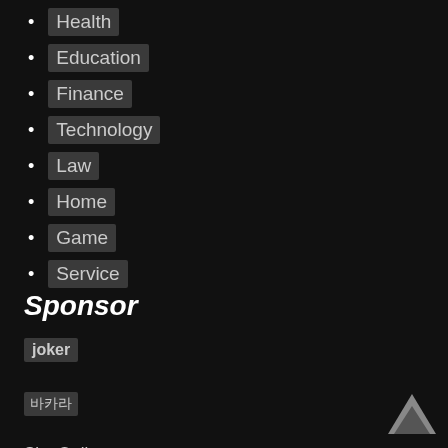Health
Education
Finance
Technology
Law
Home
Game
Service
Sponsor
joker
바카라
Slot Online